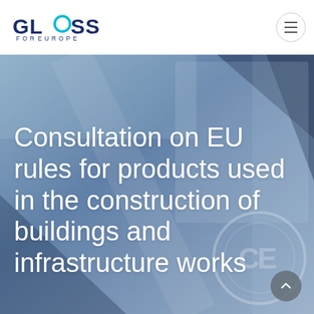[Figure (logo): Glass for Europe logo with stylized GLASS text and FOR·EUROPE subtitle]
[Figure (photo): Blue-tinted photo of a glass panel or construction product with CE mark certification label visible]
Consultation on EU rules for products used in the construction of buildings and infrastructure works